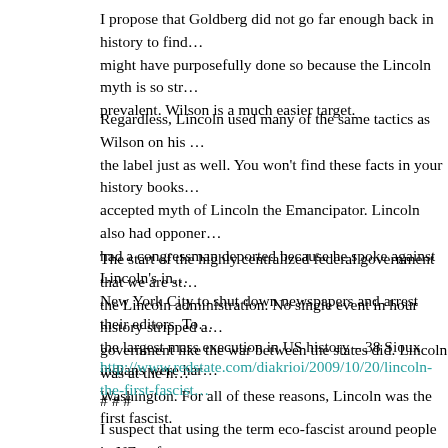I propose that Goldberg did not go far enough back in history to find… might have purposefully done so because the Lincoln myth is so sto… prevalent. Wilson is a much easier target.
Regardless, Lincoln used many of the same tactics as Wilson on his… the label just as well. You won't find these facts in your history books… accepted myth of Lincoln the Emancipator. Lincoln also had opponer… had a congressman deported because he spoke against Lincoln's in… New York City to shut down newspapers and arrest their editors. To… the largest mass execution in US history – 38 Sioux indians were har…
The start of the highly centralized federal government that we are st… the Lincoln administration. No single event in hour history stripped a… government like the war between the states did. Lincoln was at the h… Washington. For all of these reasons, Lincoln was the first fascist.
http://www.redstate.com/diakrioi/2009/10/20/lincoln-the-first-fascist
# # #
I suspect that using the term eco-fascist around people in NZ unfam…